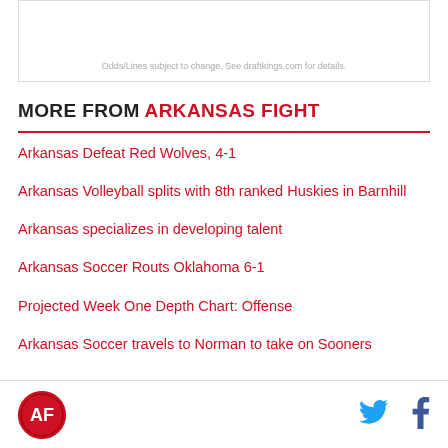Odds/Lines subject to change. See draftkings.com for details.
MORE FROM ARKANSAS FIGHT
Arkansas Defeat Red Wolves, 4-1
Arkansas Volleyball splits with 8th ranked Huskies in Barnhill
Arkansas specializes in developing talent
Arkansas Soccer Routs Oklahoma 6-1
Projected Week One Depth Chart: Offense
Arkansas Soccer travels to Norman to take on Sooners
[Figure (logo): Arkansas Fight logo — circular red emblem with mascot]
[Figure (other): Twitter bird icon in blue]
[Figure (other): Facebook f icon in dark blue]